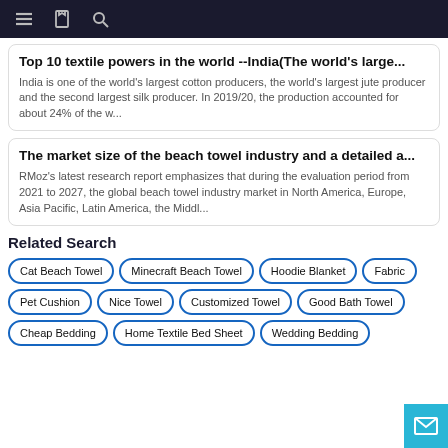Navigation bar with menu, bookmark, and search icons
Top 10 textile powers in the world --India(The world's large...
India is one of the world's largest cotton producers, the world's largest jute producer and the second largest silk producer. In 2019/20, the production accounted for about 24% of the w...
The market size of the beach towel industry and a detailed a...
RMoz's latest research report emphasizes that during the evaluation period from 2021 to 2027, the global beach towel industry market in North America, Europe, Asia Pacific, Latin America, the Middl...
Related Search
Cat Beach Towel
Minecraft Beach Towel
Hoodie Blanket
Fabric
Pet Cushion
Nice Towel
Customized Towel
Good Bath Towel
Cheap Bedding
Home Textile Bed Sheet
Wedding Bedding